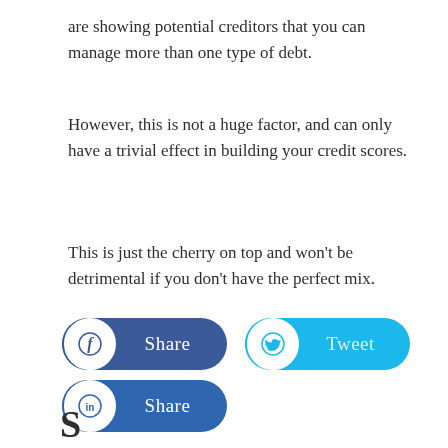are showing potential creditors that you can manage more than one type of debt.
However, this is not a huge factor, and can only have a trivial effect in building your credit scores.
This is just the cherry on top and won't be detrimental if you don't have the perfect mix.
[Figure (infographic): Three social sharing buttons: Facebook Share (dark blue), Twitter Tweet (light blue), LinkedIn Share (medium blue). Each button has a white circular icon on the left and label text on the right.]
S